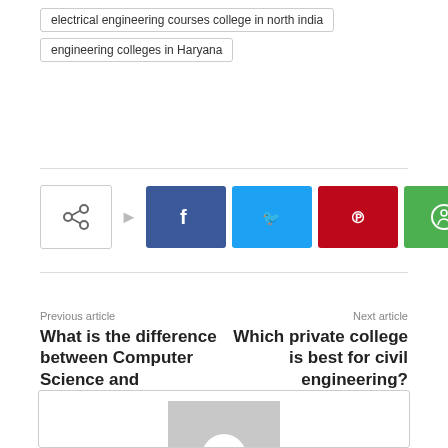electrical engineering courses college in north india
engineering colleges in Haryana
[Figure (infographic): Share buttons row: share icon box, arrow, then Facebook (blue), Twitter (cyan), Pinterest (red), WhatsApp (green) square icon buttons]
Previous article
What is the difference between Computer Science and Computer Science Engineering?
Next article
Which private college is best for civil engineering?
[Figure (photo): Profile avatar placeholder: grey square with white circle in center]